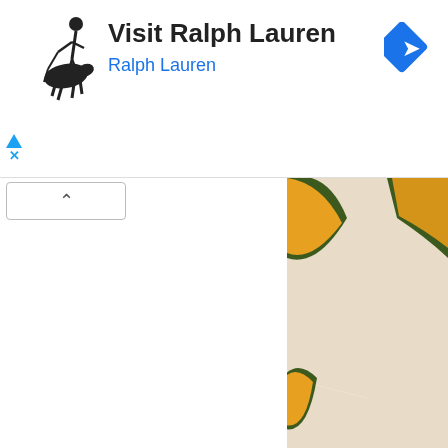[Figure (other): Ralph Lauren advertisement banner with polo player logo, text 'Visit Ralph Lauren' and 'Ralph Lauren', and a blue diamond navigation icon on the right]
[Figure (photo): Close-up photo of roasted acorn squash slices on foil, showing golden-orange flesh with dark green skin, seasoned with pepper]
I'm a big fan of butternut squash, acorn squash, sweet potato, delicata squash… favorite when you consider flavor, ease of preparation, edible skin, and a creamy it's good for you! So if you are looking for something a little different for your table